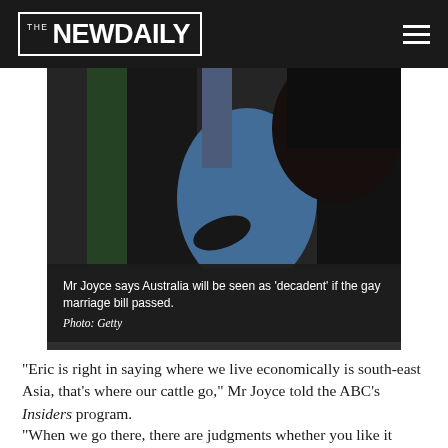THE NEW DAILY
[Figure (photo): Photo of person in parliament, dark suit with blue outfit, dark hair]
Mr Joyce says Australia will be seen as 'decadent' if the gay marriage bill passed. Photo: Getty
“Eric is right in saying where we live economically is south-east Asia, that’s where our cattle go,” Mr Joyce told the ABC’s Insiders program.
“When we go there, there are judgments whether you like it